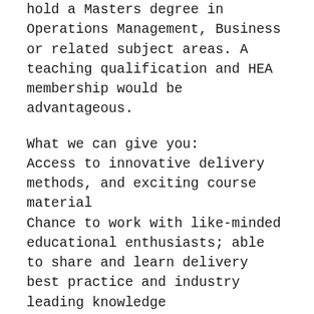hold a Masters degree in Operations Management, Business or related subject areas. A teaching qualification and HEA membership would be advantageous.
What we can give you:
Access to innovative delivery methods, and exciting course material
Chance to work with like-minded educational enthusiasts; able to share and learn delivery best practice and industry leading knowledge
Receive specialist coaching and support from your education leaders
A little more about QA:
Students preparing for undergraduate study. Working professionals looking to specialise in their field. Career changers. Everyone should